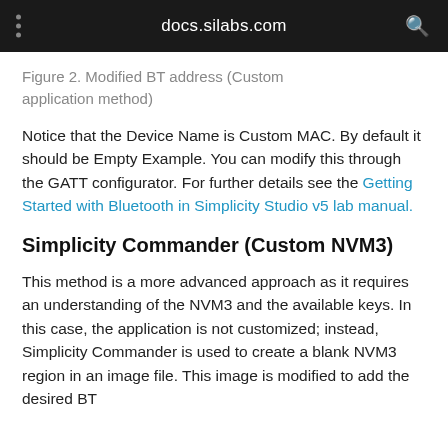docs.silabs.com
Figure 2. Modified BT address (Custom application method)
Notice that the Device Name is Custom MAC. By default it should be Empty Example. You can modify this through the GATT configurator. For further details see the Getting Started with Bluetooth in Simplicity Studio v5 lab manual.
Simplicity Commander (Custom NVM3)
This method is a more advanced approach as it requires an understanding of the NVM3 and the available keys. In this case, the application is not customized; instead, Simplicity Commander is used to create a blank NVM3 region in an image file. This image is modified to add the desired BT